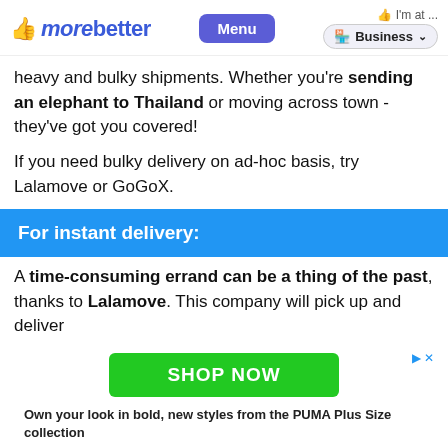morebetter | Menu | I'm at ... | Business
heavy and bulky shipments. Whether you're sending an elephant to Thailand or moving across town - they've got you covered!
If you need bulky delivery on ad-hoc basis, try Lalamove or GoGoX.
For instant delivery:
A time-consuming errand can be a thing of the past, thanks to Lalamove. This company will pick up and deliver
[Figure (screenshot): Green SHOP NOW advertisement button overlay with dismiss icons, PUMA Plus Size collection ad text, and Ad label]
Own your look in bold, new styles from the PUMA Plus Size collection
Ad